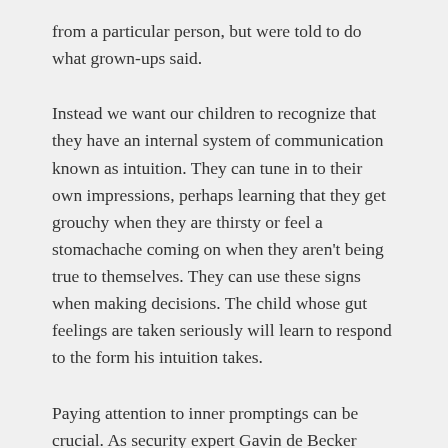from a particular person, but were told to do what grown-ups said.
Instead we want our children to recognize that they have an internal system of communication known as intuition. They can tune in to their own impressions, perhaps learning that they get grouchy when they are thirsty or feel a stomachache coming on when they aren't being true to themselves. They can use these signs when making decisions. The child whose gut feelings are taken seriously will learn to respond to the form his intuition takes.
Paying attention to inner promptings can be crucial. As security expert Gavin de Becker explains in Protecting the Gift: Keeping Children and Teenagers Safe, this is imperative for safety because intuition is a hardwired